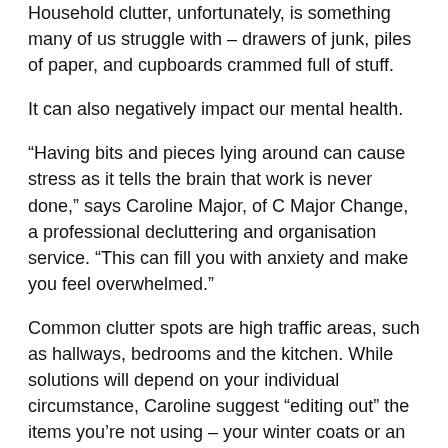Household clutter, unfortunately, is something many of us struggle with – drawers of junk, piles of paper, and cupboards crammed full of stuff.
It can also negatively impact our mental health.
“Having bits and pieces lying around can cause stress as it tells the brain that work is never done,” says Caroline Major, of C Major Change, a professional decluttering and organisation service. “This can fill you with anxiety and make you feel overwhelmed.”
Common clutter spots are high traffic areas, such as hallways, bedrooms and the kitchen. While solutions will depend on your individual circumstance, Caroline suggest “editing out” the items you’re not using – your winter coats or an old fondue set - and find practical solutions which are easy to use for the things you do.
“In every room, every item needs a home. Otherwise,